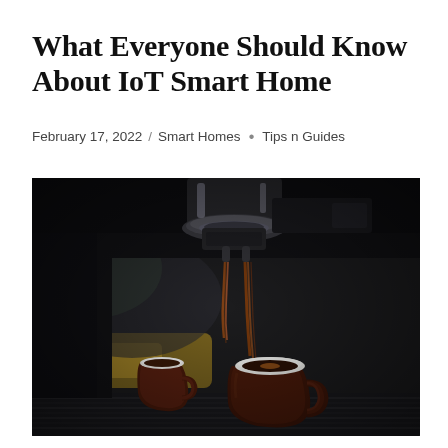What Everyone Should Know About IoT Smart Home
February 17, 2022 / Smart Homes • Tips n Guides
[Figure (photo): Close-up photo of an espresso machine portafilter with dark coffee streaming down into two brown ceramic espresso cups on a metal drip tray, with a blurred background showing a coffee shop environment.]